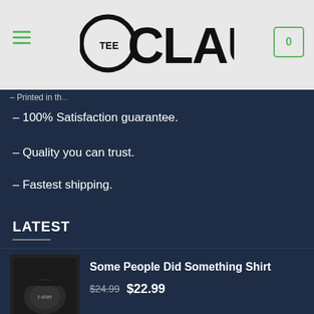TeeClaude - logo header with hamburger menu and cart icon showing 0
SOME FEATU... – Printed in th...
– 100% Satisfaction guarantee.
– Quality you can trust.
– Fastest shipping.
LATEST
Some People Did Something Shirt $24.99 $22.99
Mother of Cats Shirt $26.99 $22.99